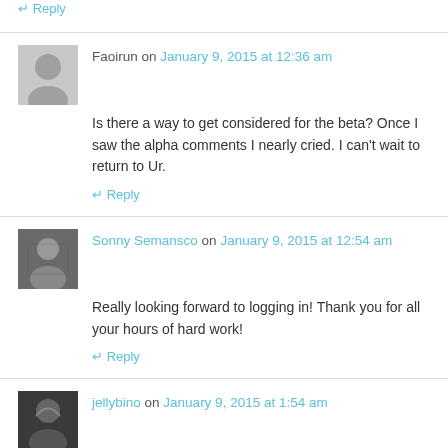↵ Reply
Faoirun on January 9, 2015 at 12:36 am
Is there a way to get considered for the beta? Once I saw the alpha comments I nearly cried. I can't wait to return to Ur.
↵ Reply
Sonny Semansco on January 9, 2015 at 12:54 am
Really looking forward to logging in! Thank you for all your hours of hard work!
↵ Reply
jellybino on January 9, 2015 at 1:54 am
Thank you for the update!!! Every step is one step closer to beta! 🙂
↵ Reply